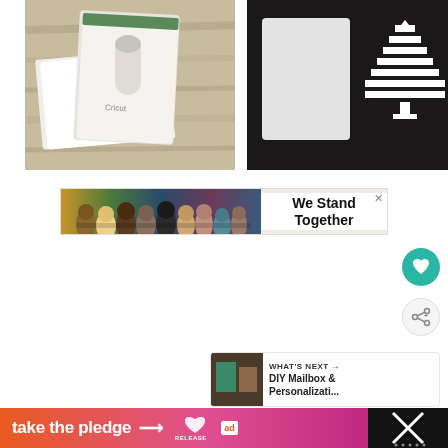[Figure (photo): Left photo: white card and glue stick on wooden table surface]
[Figure (photo): Right photo: white card with Christmas tree cutout on dark background]
[Figure (photo): Advertisement banner showing group of people hugging with text 'We Stand Together' and close button]
[Figure (illustration): Teal heart/favorite button circle]
[Figure (illustration): Light gray share button circle with share icon]
WHAT'S NEXT → DIY Mailbox & Personalizati...
[Figure (photo): Bottom orange-to-pink gradient banner with text 'take the pledge →' and RELEASE logo and ad badge]
[Figure (illustration): Bottom right dark section with X icon and dots]